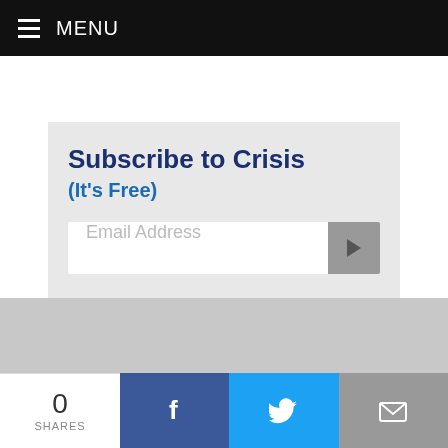MENU
Subscribe to Crisis
(It's Free)
[Figure (screenshot): Email subscription form with text input field labeled 'Email Address' and a gray arrow submit button]
0 SHARES | Facebook | Twitter | Email